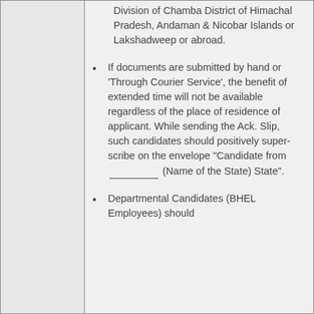Division of Chamba District of Himachal Pradesh, Andaman & Nicobar Islands or Lakshadweep or abroad.
If documents are submitted by hand or 'Through Courier Service', the benefit of extended time will not be available regardless of the place of residence of applicant. While sending the Ack. Slip, such candidates should positively super-scribe on the envelope "Candidate from __________ (Name of the State) State".
Departmental Candidates (BHEL Employees) should